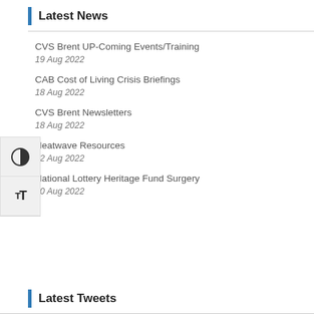Latest News
CVS Brent UP-Coming Events/Training
19 Aug 2022
CAB Cost of Living Crisis Briefings
18 Aug 2022
CVS Brent Newsletters
18 Aug 2022
Heatwave Resources
12 Aug 2022
National Lottery Heritage Fund Surgery
10 Aug 2022
Latest Tweets